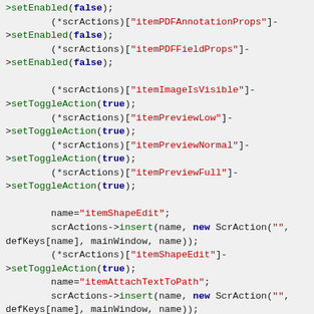Code snippet showing C++ source code with scrActions menu item setup including setEnabled and setToggleAction calls